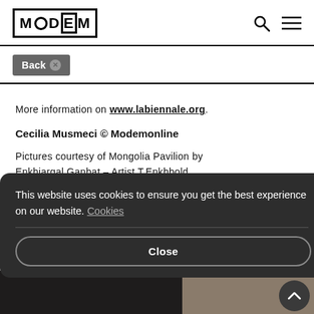MODEM
Backⓧ
More information on www.labiennale.org.
Cecilia Musmeci © Modemonline
Pictures courtesy of Mongolia Pavilion by Enkhjargal Ganbat – Artist T.Enkhbold.
This website uses cookies to ensure you get the best experience on our website. Cookies
Close
[Figure (photo): Bottom strip of a photograph showing water and landscape, partially obscured by cookie consent banner]